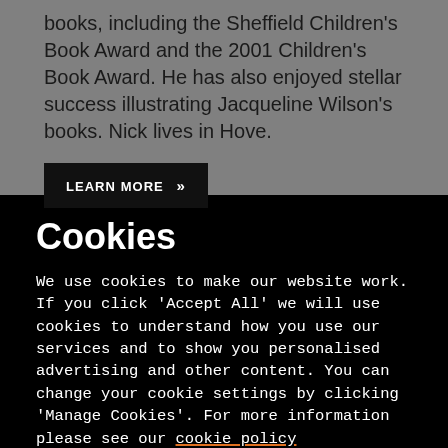books, including the Sheffield Children's Book Award and the 2001 Children's Book Award. He has also enjoyed stellar success illustrating Jacqueline Wilson's books. Nick lives in Hove.
LEARN MORE >>
Cookies
We use cookies to make our website work. If you click 'Accept All' we will use cookies to understand how you use our services and to show you personalised advertising and other content. You can change your cookie settings by clicking 'Manage Cookies'. For more information please see our cookie policy
MANAGE COOKIE SETTINGS
ACCEPT ALL COOKIES